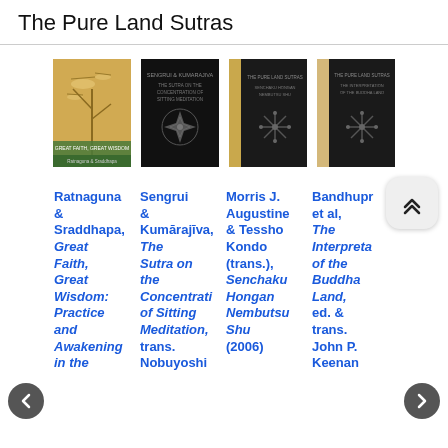The Pure Land Sutras
[Figure (photo): Four book covers displayed in a row: first is a golden/tan cover with birds and Japanese art, second is a black cover with a decorative star/compass symbol, third is a dark cover with gold accents and a snowflake pattern, fourth is a tan/cream cover with a snowflake symbol.]
Ratnaguna & Sraddhapa, Great Faith, Great Wisdom: Practice and Awakening in the
Sengrui & Kumārajīva, The Sutra on the Concentration of Sitting Meditation, trans. Nobuyoshi
Morris J. Augustine & Tessho Kondo (trans.), Senchaku Hongan Nembutsu Shu (2006)
Bandhupr et al, The Interpretation of the Buddha Land, ed. & trans. John P. Keenan